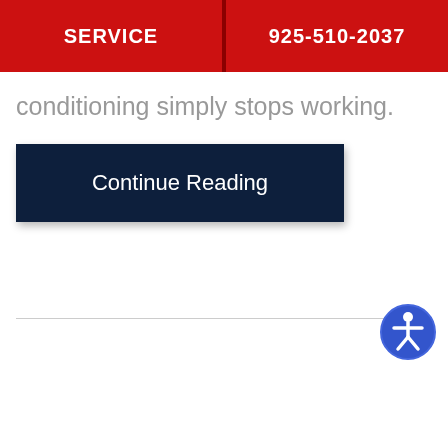SERVICE | 925-510-2037
conditioning simply stops working.
Continue Reading
[Figure (illustration): Accessibility icon — blue circle with white human figure (wheelchair accessibility symbol)]